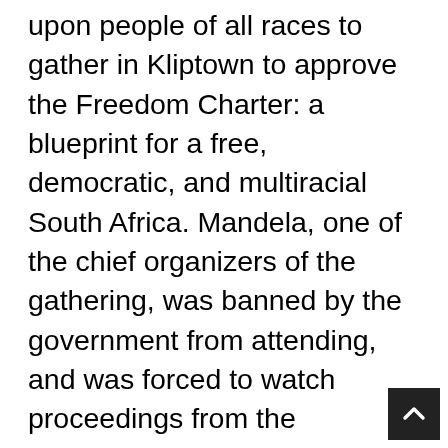In 1955, the ANC and other organizations called upon people of all races to gather in Kliptown to approve the Freedom Charter: a blueprint for a free, democratic, and multiracial South Africa. Mandela, one of the chief organizers of the gathering, was banned by the government from attending, and was forced to watch proceedings from the sidelines. Later, he and other members of the ANC were charged with high treason, and were subject to nearly a five-year trial that was designed to keep the Black organizers occupied and out of politics. Ultimately, it would be another 40 years until